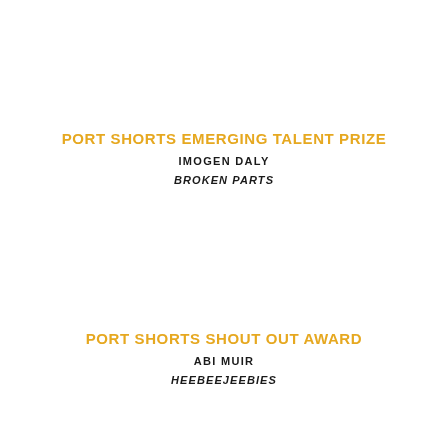PORT SHORTS EMERGING TALENT PRIZE
IMOGEN DALY
BROKEN PARTS
PORT SHORTS SHOUT OUT AWARD
ABI MUIR
HEEBEEJEEBIES